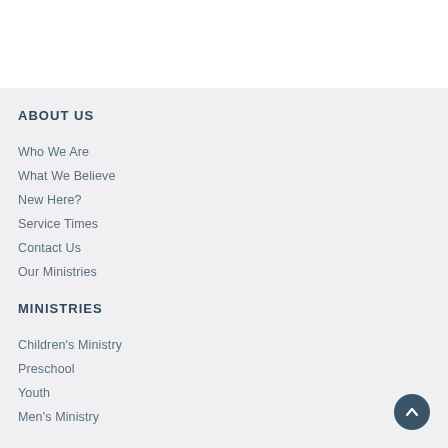ABOUT US
Who We Are
What We Believe
New Here?
Service Times
Contact Us
Our Ministries
MINISTRIES
Children's Ministry
Preschool
Youth
Men's Ministry